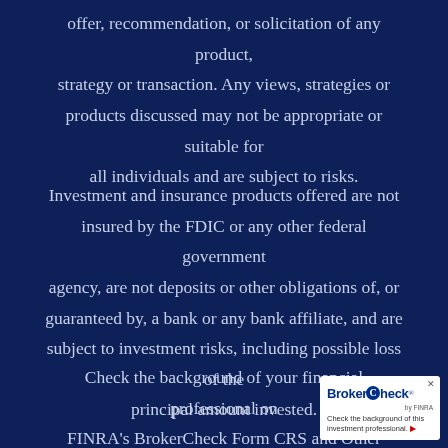offer, recommendation, or solicitation of any product, strategy or transaction. Any views, strategies or products discussed may not be appropriate or suitable for all individuals and are subject to risks.
Investment and insurance products offered are not insured by the FDIC or any other federal government agency, are not deposits or other obligations of, or guaranteed by, a bank or any bank affiliate, and are subject to investment risks, including possible loss of the principal amount invested.
Check the background of your financial professional on FINRA's BrokerCheck Form CRS and Other Disclosures
[Figure (logo): BrokerCheck by FINRA badge with text 'Check the background of this investment professional.']